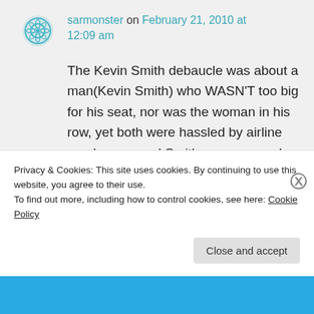sarmonster on February 21, 2010 at 12:09 am
The Kevin Smith debaucle was about a man(Kevin Smith) who WASN'T too big for his seat, nor was the woman in his row, yet both were hassled by airline employees, and Smith was removed from his first flight because it was full and
Privacy & Cookies: This site uses cookies. By continuing to use this website, you agree to their use.
To find out more, including how to control cookies, see here: Cookie Policy
Close and accept